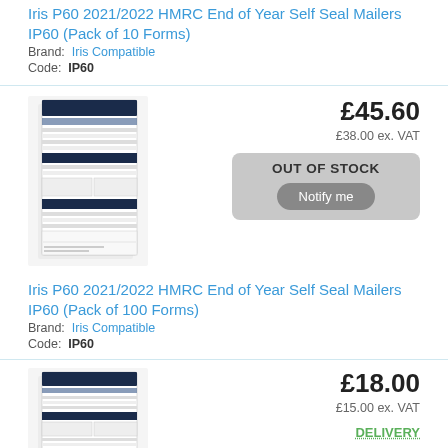Iris P60 2021/2022 HMRC End of Year Self Seal Mailers IP60 (Pack of 10 Forms)
Brand: Iris Compatible
Code: IP60
[Figure (photo): Photo of P60 HMRC End of Year Self Seal Mailer form sheets]
£45.60
£38.00 ex. VAT
OUT OF STOCK
Notify me
Iris P60 2021/2022 HMRC End of Year Self Seal Mailers IP60 (Pack of 100 Forms)
Brand: Iris Compatible
Code: IP60
[Figure (photo): Photo of P60 HMRC End of Year Self Seal Mailer form sheets]
£18.00
£15.00 ex. VAT
DELIVERY